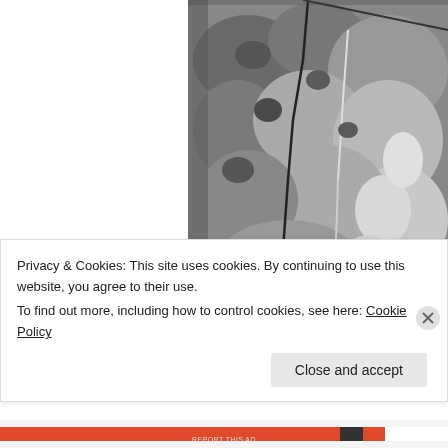[Figure (photo): Black and white photograph of rock surface with cracks and mottled texture, partially visible on the right side of the page]
In his letter to
du
Privacy & Cookies: This site uses cookies. By continuing to use this website, you agree to their use.
To find out more, including how to control cookies, see here: Cookie Policy
Close and accept